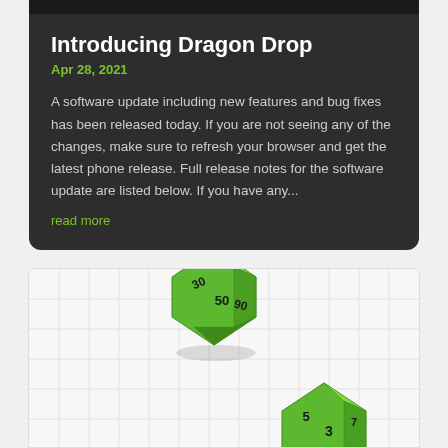Introducing Dragon Drop
Apr 28, 2021
A software update including new features and bug fixes has been released today. If you are not seeing any of the changes, make sure to refresh your browser and get the latest phone release. Full release notes for the software update are listed below. If you have any...
read more
[Figure (photo): Two green polyhedral dice (icosahedron-style) on a light grid background. The top die shows numbers 30, 50, 90. The bottom die shows numbers 3, 5, and other faces partially visible.]